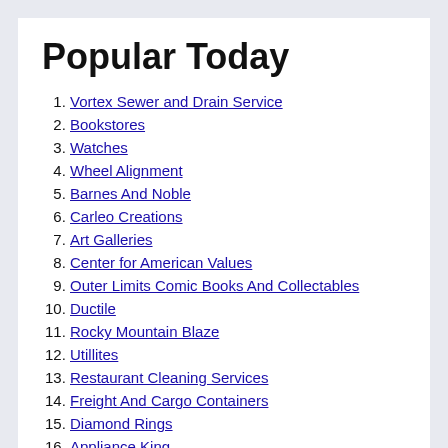Popular Today
Vortex Sewer and Drain Service
Bookstores
Watches
Wheel Alignment
Barnes And Noble
Carleo Creations
Art Galleries
Center for American Values
Outer Limits Comic Books And Collectables
Ductile
Rocky Mountain Blaze
Utillites
Restaurant Cleaning Services
Freight And Cargo Containers
Diamond Rings
Appliance King